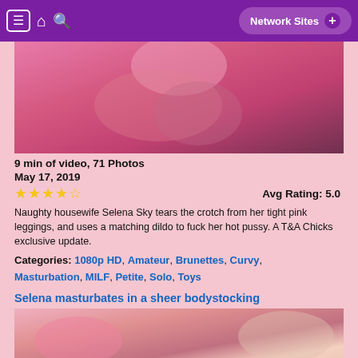≡ 🏠 🔍  Network Sites +
[Figure (photo): Close-up photo of pink clothing/leggings]
9 min of video, 71 Photos
May 17, 2019
★★★★☆  Avg Rating: 5.0
Naughty housewife Selena Sky tears the crotch from her tight pink leggings, and uses a matching dildo to fuck her hot pussy. A T&A Chicks exclusive update.
Categories: 1080p HD, Amateur, Brunettes, Curvy, Masturbation, MILF, Petite, Solo, Toys
Selena masturbates in a sheer bodystocking
[Figure (photo): Woman holding a pink object, wearing white outfit with dark nail polish]